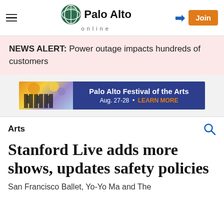Palo Alto online
NEWS ALERT: Power outage impacts hundreds of customers
[Figure (infographic): Palo Alto Festival of the Arts advertisement banner. Aug. 27-28 • LEARN MORE]
Arts
Stanford Live adds more shows, updates safety policies
San Francisco Ballet, Yo-Yo Ma and The